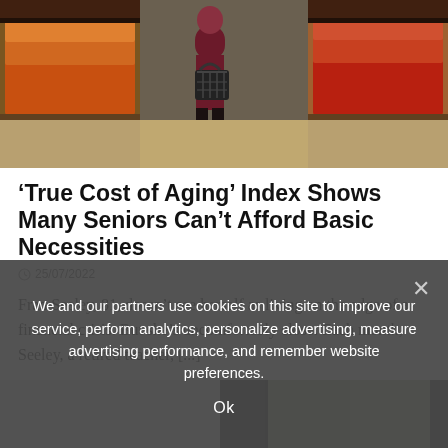[Figure (photo): Person carrying a black shopping basket in a grocery store aisle with produce sections visible on both sides]
‘True Cost of Aging’ Index Shows Many Seniors Can’t Afford Basic Necessities
25/07/2022
Fran Seeley, 81, doesn’t see herself as living on the edge of a financial crisis. But she’s uncomfortably close. Each month, Seeley, a retired teacher, [...]
[Figure (photo): Partial view of another article image, appears to show an indoor or architectural scene]
We and our partners use cookies on this site to improve our service, perform analytics, personalize advertising, measure advertising performance, and remember website preferences.
Ok